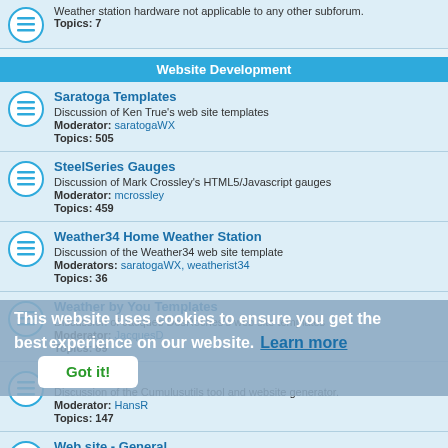Weather station hardware not applicable to any other subforum. Topics: 7
Website Development
Saratoga Templates - Discussion of Ken True's web site templates - Moderator: saratogaWX - Topics: 505
SteelSeries Gauges - Discussion of Mark Crossley's HTML5/Javascript gauges - Moderator: mcrossley - Topics: 459
Weather34 Home Weather Station - Discussion of the Weather34 web site template - Moderators: saratogaWX, weatherist34 - Topics: 36
Weather by You Templates - Discussion of Jacques DesRoches's web site templates - Moderator: JacquesD - Topics: 89
Cumulusutils - Discussion of the Cumulusutils tool and website generator. - Moderator: HansR - Topics: 147
Web site - General - Other discussion about creating web sites for Cumulus that doesn't have a specific subforum - Moderator: daj
This website uses cookies to ensure you get the best experience on our website. Learn more Got it!